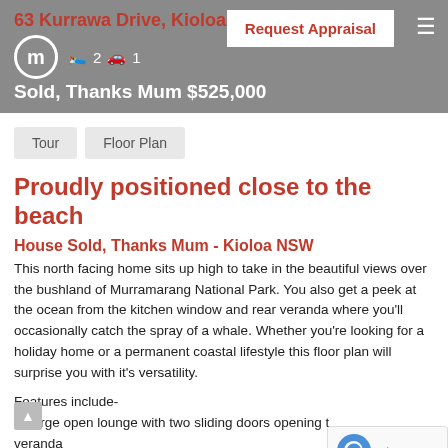63 Kurrawa Drive, Kioloa NSW 2539
Sold, Thanks Mum $525,000
Tour | Floor Plan
Proudly positioned close to the beach
House Sold, Thanks Mum - Kioloa NSW
This north facing home sits up high to take in the beautiful views over the bushland of Murramarang National Park. You also get a peek at the ocean from the kitchen window and rear veranda where you'll occasionally catch the spray of a whale. Whether you're looking for a holiday home or a permanent coastal lifestyle this floor plan will surprise you with it's versatility.
Features include-
– Large open lounge with two sliding doors opening to veranda
- 2 bedrooms with BIW and 2 way bathroom upstairs